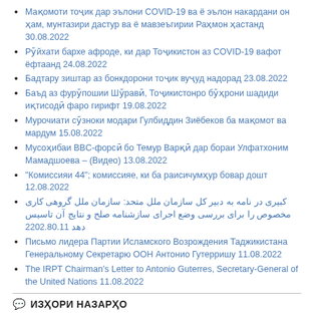Мақомоти тоҷик дар эълони COVID-19 ва ё эълон накардани он ҳам, мунтазири дастур ва ё мавзеъгирии Раҳмон ҳастанд 30.08.2022
Рӯйхати бархе афроде, ки дар Тоҷикистон аз COVID-19 вафот ёфтаанд 24.08.2022
Бадтару зиштар аз бонкдорони тоҷик вуҷуд надорад 23.08.2022
Баъд аз фурӯпошии Шӯравӣ, Тоҷикистонро бӯҳрони шадиди иқтисодӣ фаро гирифт 19.08.2022
Мурочиати сӯзноки модари Гулбиддин Зиёбеков ба мақомот ва мардум 15.08.2022
Мусоҳибаи BBC-форсӣ бо Темур Варқӣ дар бораи Улфатхоним Мамадшоева – (Видео) 13.08.2022
"Комиссияи 44"; комиссияе, ки ба раисичумҳур бовар дошт 12.08.2022
کبیری در نامه به دبیر کل سازمان ملل متحد: سازمان ملل گروهی کاری مخصوص را برای بررسی وضع اجرای سازشنامه صلح و نتایج آن تاسیس دهد 11.08.2022
Письмо лидера Партии Исламского Возрождения Таджикистана Генеральному Секретарю ООН Антонио Гутерришу 11.08.2022
The IRPT Chairman's Letter to Antonio Guterres, Secretary-General of the United Nations 11.08.2022
ИЗҲОРИ НАЗАРҲО
исфара к записи Золимоне манқурт мисли Раҳмонз...
Уряд Таджикистану ро... к записи Сын за отца: Рустам Эмомали